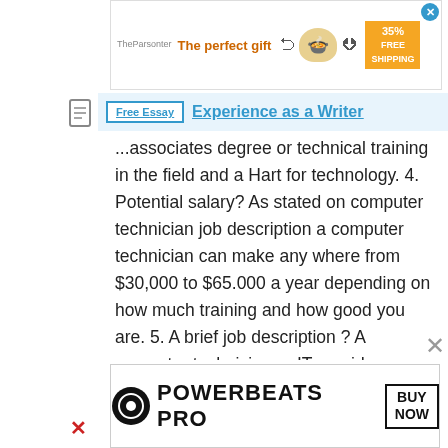[Figure (screenshot): Top advertisement banner: 'The perfect gift' with food imagery, navigation arrows, 35% discount badge and FREE SHIPPING offer with close button]
Free Essay   Experience as a Writer
...associates degree or technical training in the field and a Hart for technology. 4. Potential salary? As stated on computer technician job description a computer technician can make any where from $30,000 to $65.000 a year depending on how much training and how good you are. 5. A brief job description ? A computer technician or IT provides a wide range of technical support to individuals and businesses using computer software, hardware ,help lines and other equipment depending on specific responsibilities, IT's may go by several different titles including computer repair technician, technical support specialist, help desk technicians, field service technicians and information technician support
[Figure (screenshot): Bottom advertisement banner: Powerbeats Pro with Beats logo, 'POWERBEATS PRO' text and 'BUY NOW' button]